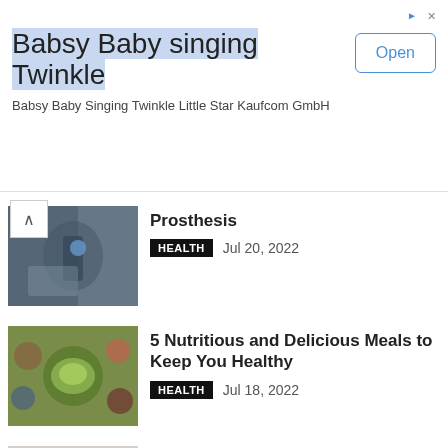[Figure (screenshot): Advertisement banner for 'Babsy Baby singing Twinkle' app with Open button]
Babsy Baby singing Twinkle
Babsy Baby Singing Twinkle Little Star Kaufcom GmbH
[Figure (photo): Medical professional using laser or light device on a patient's face - prosthesis article image]
Prosthesis
HEALTH   Jul 20, 2022
[Figure (photo): Overhead view of colorful salad bowls and vegetables for nutritious meals article]
5 Nutritious and Delicious Meals to Keep You Healthy
HEALTH   Jul 18, 2022
[Figure (photo): Doctor holding a sign reading ECZEMA with stethoscope visible]
How Eczema Affects Your Everyday Life
HEALTH   Jul 16, 2022
[Figure (photo): Close-up image related to ptosis article]
What Causes Ptosis?